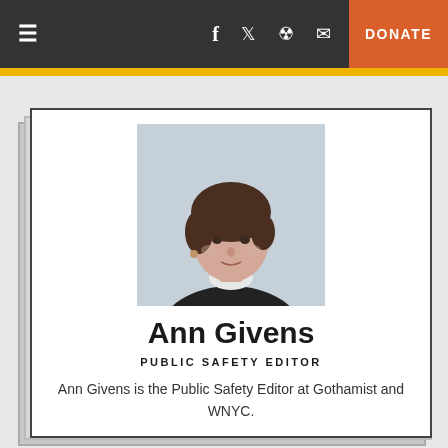≡  f  🐦  👽  ✉  DONATE
[Figure (photo): Headshot photo of Ann Givens, a woman with short brown hair wearing a black top with white collar, photographed against a light grey background.]
Ann Givens
PUBLIC SAFETY EDITOR
Ann Givens is the Public Safety Editor at Gothamist and WNYC.